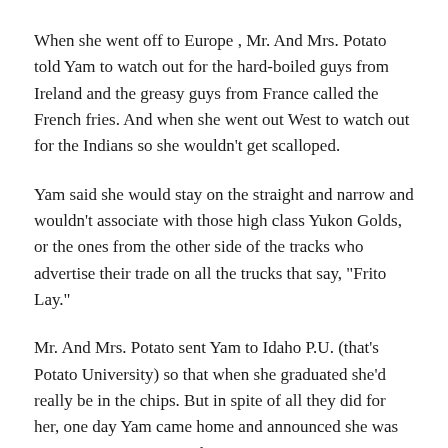When she went off to Europe , Mr. And Mrs. Potato told Yam to watch out for the hard-boiled guys from Ireland and the greasy guys from France called the French fries. And when she went out West to watch out for the Indians so she wouldn’t get scalloped.
Yam said she would stay on the straight and narrow and wouldn’t associate with those high class Yukon Golds, or the ones from the other side of the tracks who advertise their trade on all the trucks that say, “Frito Lay.”
Mr. And Mrs. Potato sent Yam to Idaho P.U. (that’s Potato University) so that when she graduated she’d really be in the chips. But in spite of all they did for her, one day Yam came home and announced she was going to marry Tom Brokaw.